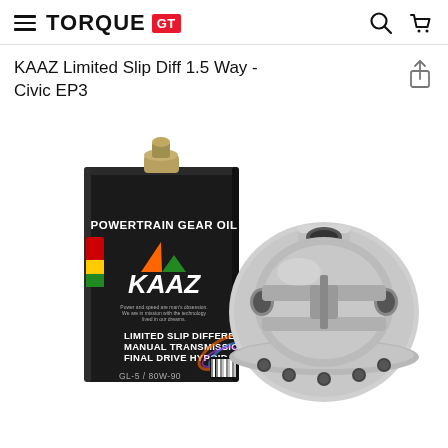TORQUE GT
KAAZ Limited Slip Diff 1.5 Way - Civic EP3
[Figure (photo): Product photo showing a black KAAZ Powertrain Gear Oil tin can with KAAZ logo and text 'LIMITED SLIP DIFFERENTIAL MANUAL TRANSMISSION FINAL DRIVE HYPOID GL-5/80W-90' alongside a silver KAAZ limited slip differential unit.]